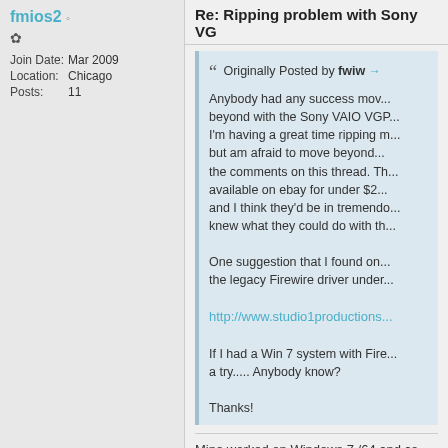fmios2
Join Date: Mar 2009
Location: Chicago
Posts: 11
Re: Ripping problem with Sony VG...
Originally Posted by fwiw →
Anybody had any success mov... beyond with the Sony VAIO VGP... I'm having a great time ripping m... but am afraid to move beyond... the comments on this thread. Th... available on ebay for under $2... and I think they'd be in tremendo... knew what they could do with th...

One suggestion that I found on... the legacy Firewire driver under...

http://www.studio1productions...

If I had a Win 7 system with Fire... a try..... Anybody know?

Thanks!
Mine worked on Windows 7 /64 and co... /64